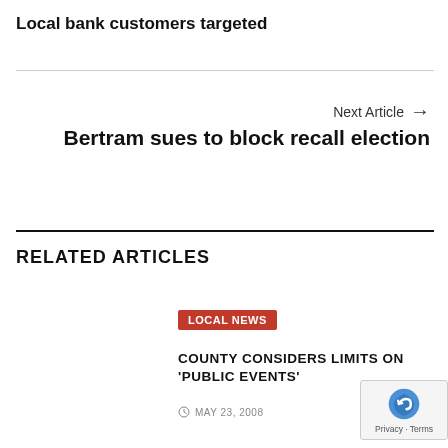Local bank customers targeted
Next Article →
Bertram sues to block recall election
RELATED ARTICLES
LOCAL NEWS
COUNTY CONSIDERS LIMITS ON 'PUBLIC EVENTS'
MAY 23, 2008